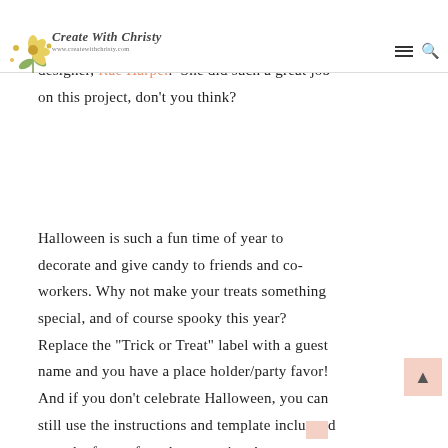Create With Christy — www.createwithchristy.com
share with you today.  They are both so cute.
The first project is designed by a new CFC designer, Rae Harper.  She did such a great job on this project, don't you think?

Halloween is such a fun time of year to decorate and give candy to friends and co-workers. Why not make your treats something special, and of course spooky this year? Replace the "Trick or Treat" label with a guest name and you have a place holder/party favor! And if you don't celebrate Halloween, you can still use the instructions and template included to make favors for other occasions!